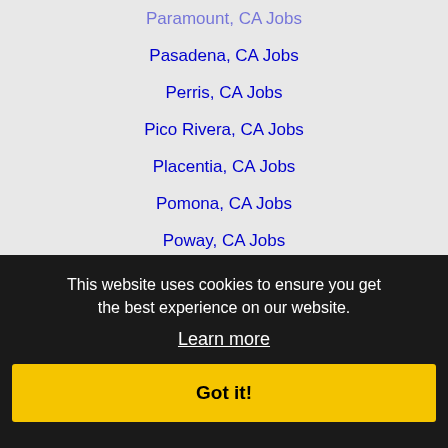Paramount, CA Jobs
Pasadena, CA Jobs
Perris, CA Jobs
Pico Rivera, CA Jobs
Placentia, CA Jobs
Pomona, CA Jobs
Poway, CA Jobs
Rancho Cucamonga, CA Jobs
Rancho Palos Verdes, CA Jobs
Rancho Santa Margarita, CA Jobs
Redlands, CA Jobs
Redondo Beach, CA Jobs
Rialto, CA Jobs
Rosemead, CA Jobs
San Clemente, CA Jobs
San Diego, CA Jobs
This website uses cookies to ensure you get the best experience on our website.
Learn more
Got it!